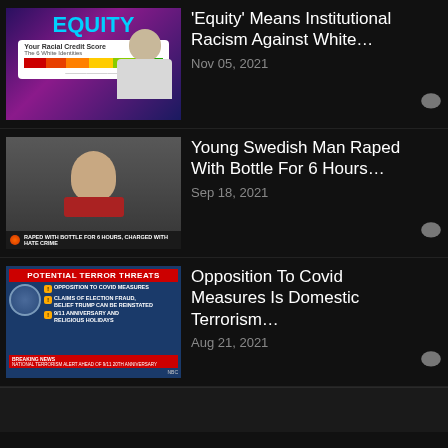[Figure (screenshot): Thumbnail image with purple background, 'EQUITY' text and a racial credit score graphic with a woman]
'Equity' Means Institutional Racism Against White…
Nov 05, 2021
[Figure (screenshot): Photo of a young blonde man with a TV news chyron reading 'RAPED WITH BOTTLE FOR 6 HOURS, CHARGED WITH HATE CRIME']
Young Swedish Man Raped With Bottle For 6 Hours…
Sep 18, 2021
[Figure (screenshot): NBC Breaking News graphic listing 'POTENTIAL TERROR THREATS' including opposition to covid measures, election fraud claims, 9/11 anniversary]
Opposition To Covid Measures Is Domestic Terrorism…
Aug 21, 2021
WE'RE HIRING
We are looking for a professional video editor, animator and